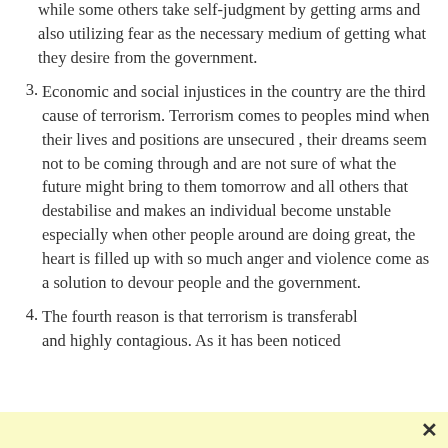while some others take self-judgment by getting arms and also utilizing fear as the necessary medium of getting what they desire from the government.
3. Economic and social injustices in the country are the third cause of terrorism. Terrorism comes to peoples mind when their lives and positions are unsecured , their dreams seem not to be coming through and are not sure of what the future might bring to them tomorrow and all others that destabilise and makes an individual become unstable especially when other people around are doing great, the heart is filled up with so much anger and violence come as a solution to devour people and the government.
4. The fourth reason is that terrorism is transferable and highly contagious. As it has been noticed